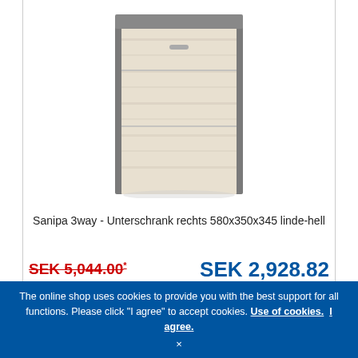[Figure (photo): Product photo of Sanipa 3way Unterschrank bathroom cabinet with wood-look front panels and grey sides]
Sanipa 3way - Unterschrank rechts 580x350x345 linde-hell
SEK 5,044.00* (strikethrough old price)   SEK 2,928.82 (new price)
Delivery time: ca 3-4 veckor
Article no.: UM13955
The online shop uses cookies to provide you with the best support for all functions. Please click "I agree" to accept cookies. Use of cookies. I agree. ×